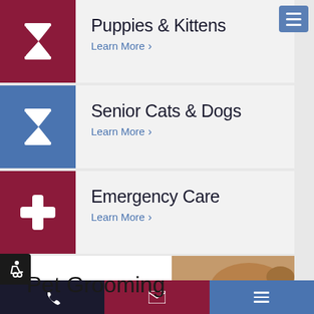Puppies & Kittens — Learn More
Senior Cats & Dogs — Learn More
Emergency Care — Learn More
[Figure (screenshot): Mobile website navigation screenshot showing three menu items (Puppies & Kittens, Senior Cats & Dogs, Emergency Care) with colored icon boxes, accessibility badge, Pet Grooming section preview, and bottom navigation bar]
Pet Grooming